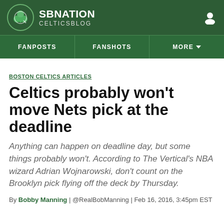SB NATION CELTICSBLOG
BOSTON CELTICS ARTICLES
Celtics probably won't move Nets pick at the deadline
Anything can happen on deadline day, but some things probably won't. According to The Vertical's NBA wizard Adrian Wojnarowski, don't count on the Brooklyn pick flying off the deck by Thursday.
By Bobby Manning | @RealBobManning | Feb 16, 2016, 3:45pm EST